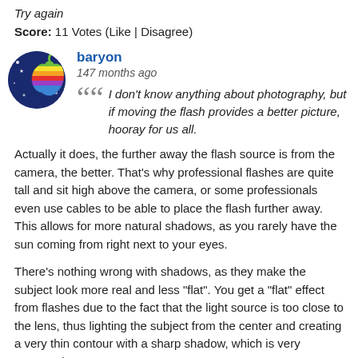Try again
Score: 11 Votes (Like | Disagree)
[Figure (illustration): Circular avatar with dark blue background showing a rainbow Apple logo with star-like sparkles]
baryon
147 months ago
I don't know anything about photography, but if moving the flash provides a better picture, hooray for us all.
Actually it does, the further away the flash source is from the camera, the better. That's why professional flashes are quite tall and sit high above the camera, or some professionals even use cables to be able to place the flash further away. This allows for more natural shadows, as you rarely have the sun coming from right next to your eyes.
There's nothing wrong with shadows, as they make the subject look more real and less "flat". You get a "flat" effect from flashes due to the fact that the light source is too close to the lens, thus lighting the subject from the center and creating a very thin contour with a sharp shadow, which is very unnatural.
Though the placement of the flash is still very close to the camera, it won't change much. It would need to be 20-30 cm away to for a noticeably better effect, but the iPhone isn't big enough for that :D